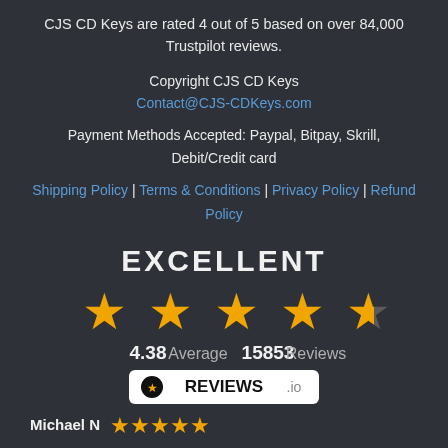CJS CD Keys are rated 4 out of 5 based on over 84,000 Trustpilot reviews.
Copyright CJS CD Keys
Contact@CJS-CDKeys.com
Payment Methods Accepted: Paypal, Bitpay, Skrill, Debit/Credit card
Shipping Policy | Terms & Conditions | Privacy Policy | Refund Policy
EXCELLENT
[Figure (infographic): 4.38 Average 15853 Reviews with orange star rating and REVIEWS.io badge]
Michael N ★★★★★
I bought the software because it was at an affordable